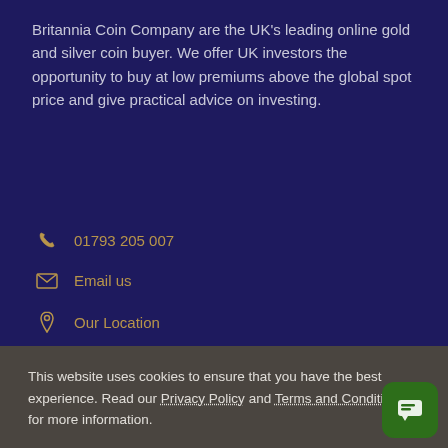Britannia Coin Company are the UK's leading online gold and silver coin buyer. We offer UK investors the opportunity to buy at low premiums above the global spot price and give practical advice on investing.
01793 205 007
Email us
Our Location
[Figure (other): Payment method icons: partial view of payment card logos including Mastercard, Maestro, and others]
This website uses cookies to ensure that you have the best experience. Read our Privacy Policy and Terms and Conditions for more information.
ACCEPT AND CONTINUE